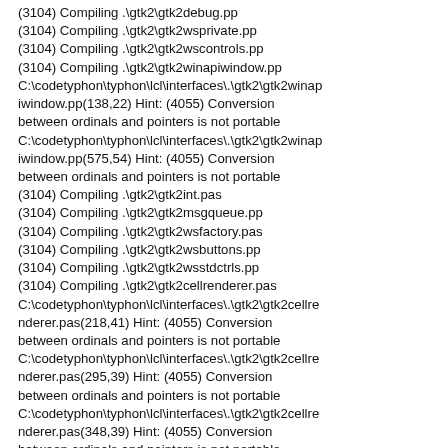(3104) Compiling .\gtk2\gtk2debug.pp
(3104) Compiling .\gtk2\gtk2wsprivate.pp
(3104) Compiling .\gtk2\gtk2wscontrols.pp
(3104) Compiling .\gtk2\gtk2winapiwindow.pp
C:\codetyphon\typhon\lcl\interfaces\.\gtk2\gtk2winapiwindow.pp(138,22) Hint: (4055) Conversion between ordinals and pointers is not portable
C:\codetyphon\typhon\lcl\interfaces\.\gtk2\gtk2winapiwindow.pp(575,54) Hint: (4055) Conversion between ordinals and pointers is not portable
(3104) Compiling .\gtk2\gtk2int.pas
(3104) Compiling .\gtk2\gtk2msgqueue.pp
(3104) Compiling .\gtk2\gtk2wsfactory.pas
(3104) Compiling .\gtk2\gtk2wsbuttons.pp
(3104) Compiling .\gtk2\gtk2wsstdctrls.pp
(3104) Compiling .\gtk2\gtk2cellrenderer.pas
C:\codetyphon\typhon\lcl\interfaces\.\gtk2\gtk2cellrenderer.pas(218,41) Hint: (4055) Conversion between ordinals and pointers is not portable
C:\codetyphon\typhon\lcl\interfaces\.\gtk2\gtk2cellrenderer.pas(295,39) Hint: (4055) Conversion between ordinals and pointers is not portable
C:\codetyphon\typhon\lcl\interfaces\.\gtk2\gtk2cellrenderer.pas(348,39) Hint: (4055) Conversion between ordinals and pointers is not portable
C:\codetyphon\typhon\lcl\interfaces\.\gtk2\gtk2memostrings.inc(249,23) Hint: (4055) Conversion between ordinals and pointers is not portable
C:\codetyphon\typhon\lcl\interfaces\.\gtk2\gtk2wsstdctrls.pp(433,32) Hint: (4055) Conversion between